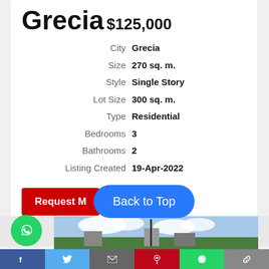Grecia
$125,000
| Label | Value |
| --- | --- |
| City | Grecia |
| Size | 270 sq. m. |
| Style | Single Story |
| Lot Size | 300 sq. m. |
| Type | Residential |
| Bedrooms | 3 |
| Bathrooms | 2 |
| Listing Created | 19-Apr-2022 |
Request M | Back to Top
[Figure (photo): Street photo of property in Grecia with sky and trees visible]
[Figure (logo): WhatsApp green circle icon]